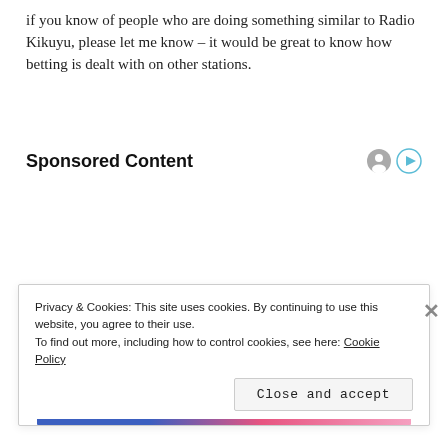if you know of people who are doing something similar to Radio Kikuyu, please let me know – it would be great to know how betting is dealt with on other stations.
Sponsored Content
Privacy & Cookies: This site uses cookies. By continuing to use this website, you agree to their use. To find out more, including how to control cookies, see here: Cookie Policy